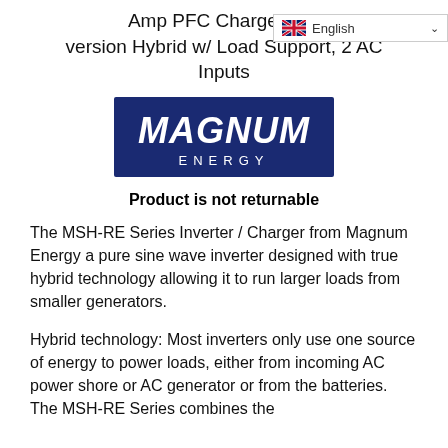Amp PFC Charger, RE version Hybrid w/ Load Support, 2 AC Inputs
[Figure (logo): Magnum Energy logo — white italic bold text on dark navy blue rectangle background]
Product is not returnable
The MSH-RE Series Inverter / Charger from Magnum Energy a pure sine wave inverter designed with true hybrid technology allowing it to run larger loads from smaller generators.
Hybrid technology: Most inverters only use one source of energy to power loads, either from incoming AC power shore or AC generator or from the batteries. The MSH-RE Series combines the